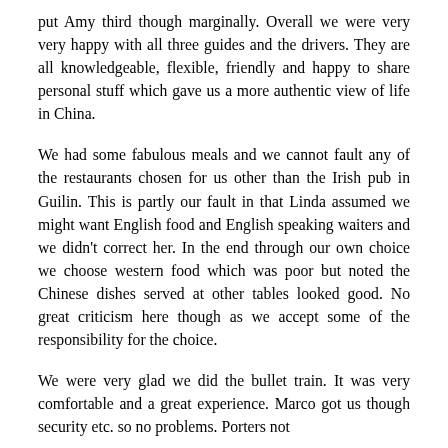put Amy third though marginally. Overall we were very very happy with all three guides and the drivers. They are all knowledgeable, flexible, friendly and happy to share personal stuff which gave us a more authentic view of life in China.
We had some fabulous meals and we cannot fault any of the restaurants chosen for us other than the Irish pub in Guilin. This is partly our fault in that Linda assumed we might want English food and English speaking waiters and we didn't correct her. In the end through our own choice we choose western food which was poor but noted the Chinese dishes served at other tables looked good. No great criticism here though as we accept some of the responsibility for the choice.
We were very glad we did the bullet train. It was very comfortable and a great experience. Marco got us though security etc. so no problems. Porters not